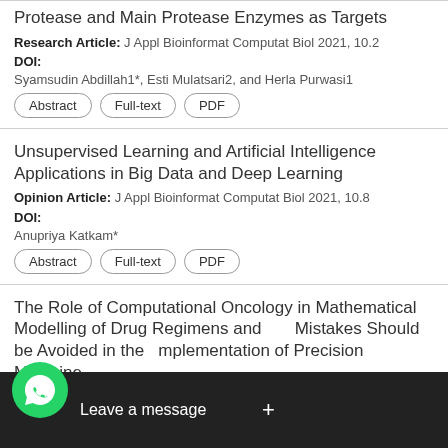Protease and Main Protease Enzymes as Targets
Research Article: J Appl Bioinformat Computat Biol 2021, 10.2
DOI:
Syamsudin Abdillah1*, Esti Mulatsari2, and Herla Purwasi1
Unsupervised Learning and Artificial Intelligence Applications in Big Data and Deep Learning
Opinion Article: J Appl Bioinformat Computat Biol 2021, 10.8
DOI:
Anupriya Katkam*
The Role of Computational Oncology in Mathematical Modelling of Drug Regimens and Mistakes Should be Avoided in the Implementation of Precision Medicine
J Appl Bioinformat Computat Biol 2021, 10.8
DOI:
[Figure (screenshot): WhatsApp chat widget overlay: green WhatsApp icon on left, dark bar with 'Leave a message' text and '+' button]